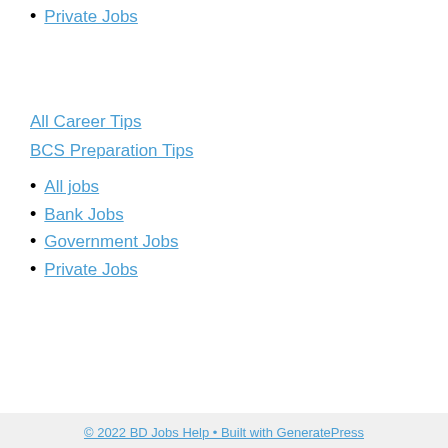Private Jobs
All Career Tips
BCS Preparation Tips
All jobs
Bank Jobs
Government Jobs
Private Jobs
© 2022 BD Jobs Help • Built with GeneratePress